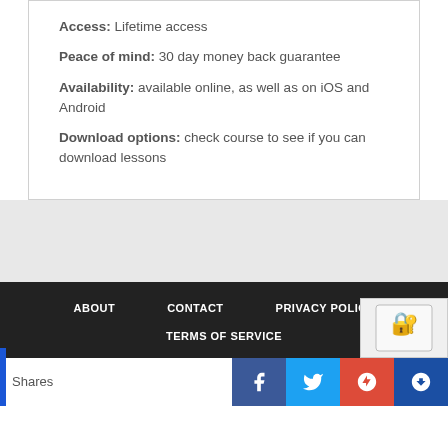Access: Lifetime access
Peace of mind: 30 day money back guarantee
Availability: available online, as well as on iOS and Android
Download options: check course to see if you can download lessons
ABOUT   CONTACT   PRIVACY POLICY   TERMS OF SERVICE